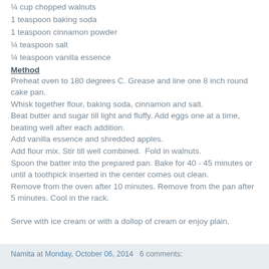¼ cup chopped walnuts
1 teaspoon baking soda
1 teaspoon cinnamon powder
¼ teaspoon salt
¼ teaspoon vanilla essence
Method
Preheat oven to 180 degrees C. Grease and line one 8 inch round cake pan.
Whisk together flour, baking soda, cinnamon and salt.
Beat butter and sugar till light and fluffy. Add eggs one at a time, beating well after each addition.
Add vanilla essence and shredded apples.
Add flour mix. Stir till well combined.  Fold in walnuts.
Spoon the batter into the prepared pan. Bake for 40 - 45 minutes or until a toothpick inserted in the center comes out clean.
Remove from the oven after 10 minutes. Remove from the pan after 5 minutes. Cool in the rack.

Serve with ice cream or with a dollop of cream or enjoy plain.
Namita at Monday, October 06, 2014   6 comments: